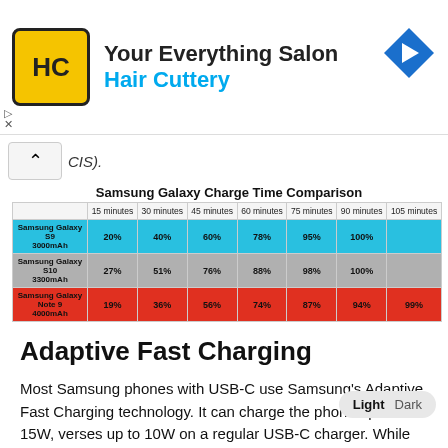[Figure (other): Hair Cuttery advertisement banner with logo, tagline 'Your Everything Salon' and brand name 'Hair Cuttery', with a navigation arrow icon on the right.]
CIS).
Samsung Galaxy Charge Time Comparison
|  | 15 minutes | 30 minutes | 45 minutes | 60 minutes | 75 minutes | 90 minutes | 105 minutes |
| --- | --- | --- | --- | --- | --- | --- | --- |
| Samsung Galaxy S9 3000mAh | 20% | 40% | 60% | 78% | 95% | 100% |  |
| Samsung Galaxy S10 3300mAh | 27% | 51% | 76% | 88% | 98% | 100% |  |
| Samsung Galaxy Note 9 4000mAh | 19% | 36% | 56% | 74% | 87% | 94% | 99% |
Adaptive Fast Charging
Most Samsung phones with USB-C use Samsung's Adaptive Fast Charging technology. It can charge the phone up to 15W, verses up to 10W on a regular USB-C charger. While proprietary tech it mimics Quick Charge. This me... Charge 2.0/3.0/4+ and PowerIQ 2.0/3.0 chargers will generally